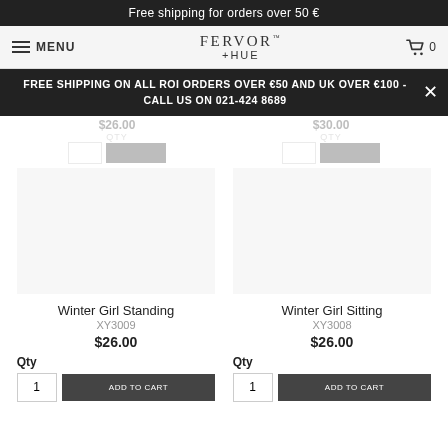Free shipping for orders over 50 €
MENU  FERVOR + HUE  🛒 0
FREE SHIPPING ON ALL ROI ORDERS OVER €50 AND UK OVER €100 - CALL US ON 021-424 8689
Winter Girl Standing
XY3009
$26.00
Winter Girl Sitting
XY3008
$26.00
Qty
Qty